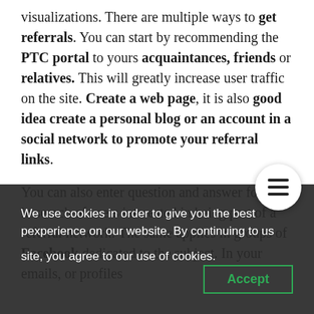visualizations. There are multiple ways to get referrals. You can start by recommending the PTC portal to yours acquaintances, friends or relatives. This will greatly increase user traffic on the site. Create a web page, it is also good idea create a personal blog or an account in a social network to promote your referral links.
You can also enter question and answer forums in search of users interested in being part of a referral network. The same applies in groups of Facebook dedicated to the subject. In your emails, or profiles
We use cookies in order to give you the best experience on our website. By continuing to use this site, you agree to our use of cookies.